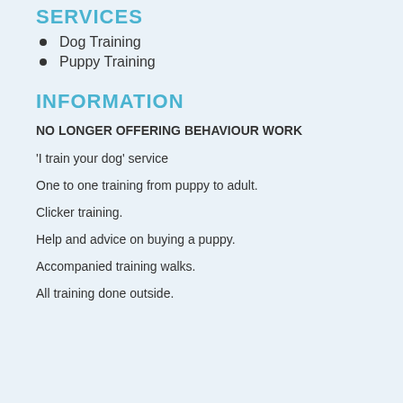SERVICES
Dog Training
Puppy Training
INFORMATION
NO LONGER OFFERING BEHAVIOUR WORK
'I train your dog' service
One to one training from puppy to adult.
Clicker training.
Help and advice on buying a puppy.
Accompanied training walks.
All training done outside.